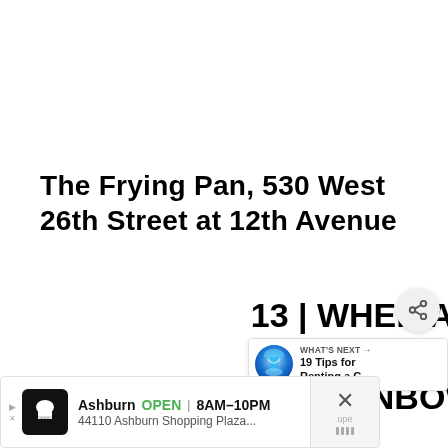The Frying Pan, 530 West 26th Street at 12th Avenue
13 | WHEN AT THE ROCKEFELLER: THE RAINBOW ROO...
[Figure (other): Share button icon (circular button with share symbol)]
[Figure (other): What's Next panel: thumbnail of waterfall, label 'WHAT'S NEXT →', text '19 Tips for Renting a C...']
[Figure (other): Advertisement banner: Ashburn restaurant ad, OPEN 8AM-10PM, 44110 Ashburn Shopping Plaza..., navigation icon, close button]